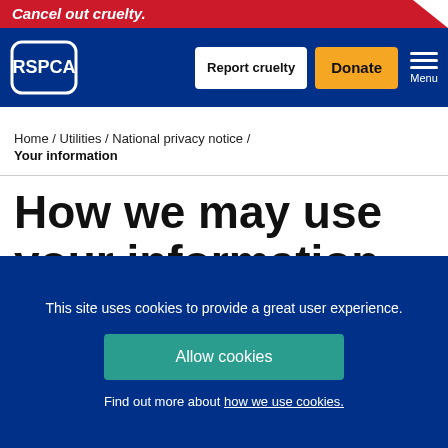Cancel out cruelty.
[Figure (logo): RSPCA logo with Report cruelty button, Donate button, and Menu icon on dark blue navigation bar]
Home / Utilities / National privacy notice /
Your information
How we may use your information
We will not rent, swap or sell your personal information to
This site uses cookies to provide a great user experience.
Allow cookies
Find out more about how we use cookies.